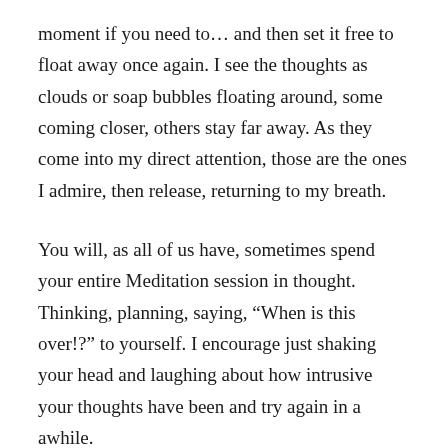moment if you need to… and then set it free to float away once again. I see the thoughts as clouds or soap bubbles floating around, some coming closer, others stay far away. As they come into my direct attention, those are the ones I admire, then release, returning to my breath.
You will, as all of us have, sometimes spend your entire Meditation session in thought. Thinking, planning, saying, “When is this over!?” to yourself. I encourage just shaking your head and laughing about how intrusive your thoughts have been and try again in a awhile.
It is the ebb and flow of thoughts, their presentation